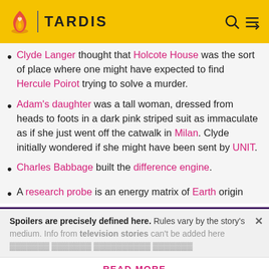TARDIS
Clyde Langer thought that Holcote House was the sort of place where one might have expected to find Hercule Poirot trying to solve a murder.
Adam's daughter was a tall woman, dressed from heads to foots in a dark pink striped suit as immaculate as if she just went off the catwalk in Milan. Clyde initially wondered if she might have been sent by UNIT.
Charles Babbage built the difference engine.
A research probe is an energy matrix of Earth origin
Spoilers are precisely defined here. Rules vary by the story's medium. Info from television stories can't be added here
READ MORE